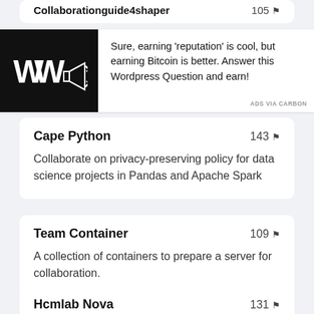Collaborationguide4shaper  105 🔖
[Figure (advertisement): Black background ad image with double-W logo and megaphone icon, promoting earning Bitcoin by answering a Wordpress Question. Text: Sure, earning 'reputation' is cool, but earning Bitcoin is better. Answer this Wordpress Question and earn! ADS VIA CARBON]
Cape Python  143 🔖
Collaborate on privacy-preserving policy for data science projects in Pandas and Apache Spark
Team Container  109 🔖
A collection of containers to prepare a server for collaboration.
Hcmlab Nova  131 🔖
NOVA is a tool for annotating and